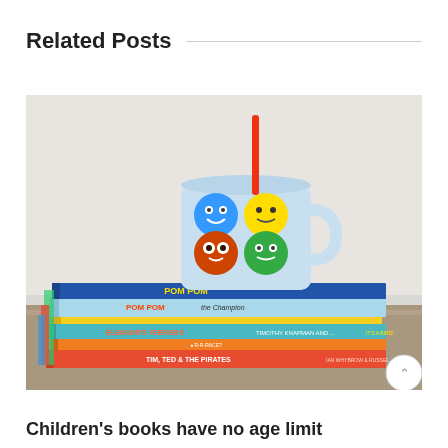Related Posts
[Figure (photo): A stack of colorful children's books with titles including 'Pom Pom', 'Pom Pom the Champion', 'Eleanor's Yeerons', 'Tim, Ted & the Pirates', topped by a light blue mug decorated with smiley face characters and a red straw, placed on a wooden surface against a light background.]
Children's books have no age limit